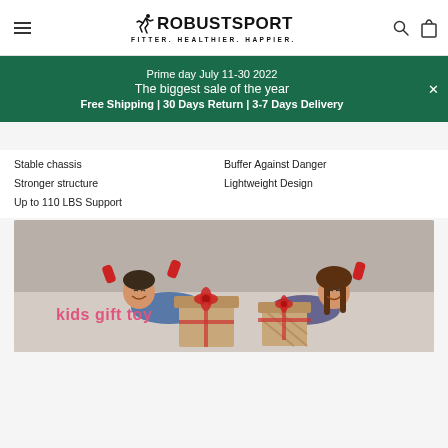ROBUSTSPORT FITTER. HEALTHIER. HAPPIER.
Prime day July 11-30 2022
The biggest sale of the year
Free Shipping | 30 Days Return | 3-7 Days Delivery
Stable chassis
Buffer Against Danger
Stronger structure
Lightweight Design
Up to 110 LBS Support
[Figure (photo): Two smiling children lying on the floor with wrapped gift boxes in a holiday setting, with text 'kids gift toy' overlaid in pink]